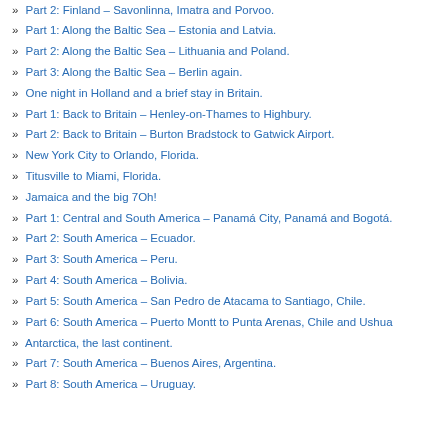» Part 2: Finland – Savonlinna, Imatra and Porvoo.
» Part 1: Along the Baltic Sea – Estonia and Latvia.
» Part 2: Along the Baltic Sea – Lithuania and Poland.
» Part 3: Along the Baltic Sea – Berlin again.
» One night in Holland and a brief stay in Britain.
» Part 1: Back to Britain – Henley-on-Thames to Highbury.
» Part 2: Back to Britain – Burton Bradstock to Gatwick Airport.
» New York City to Orlando, Florida.
» Titusville to Miami, Florida.
» Jamaica and the big 7Oh!
» Part 1: Central and South America – Panamá City, Panamá and Bogotá.
» Part 2: South America – Ecuador.
» Part 3: South America – Peru.
» Part 4: South America – Bolivia.
» Part 5: South America – San Pedro de Atacama to Santiago, Chile.
» Part 6: South America – Puerto Montt to Punta Arenas, Chile and Ushuaia.
» Antarctica, the last continent.
» Part 7: South America – Buenos Aires, Argentina.
» Part 8: South America – Uruguay.